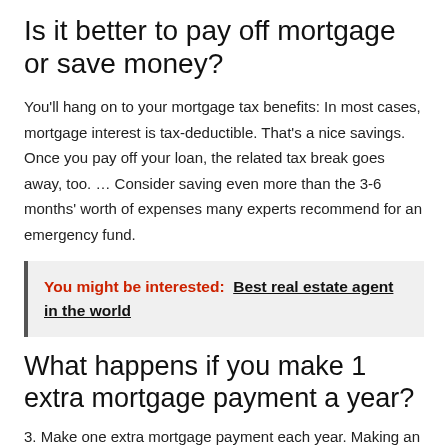Is it better to pay off mortgage or save money?
You'll hang on to your mortgage tax benefits: In most cases, mortgage interest is tax-deductible. That's a nice savings. Once you pay off your loan, the related tax break goes away, too. … Consider saving even more than the 3-6 months' worth of expenses many experts recommend for an emergency fund.
You might be interested:  Best real estate agent in the world
What happens if you make 1 extra mortgage payment a year?
3. Make one extra mortgage payment each year. Making an extra